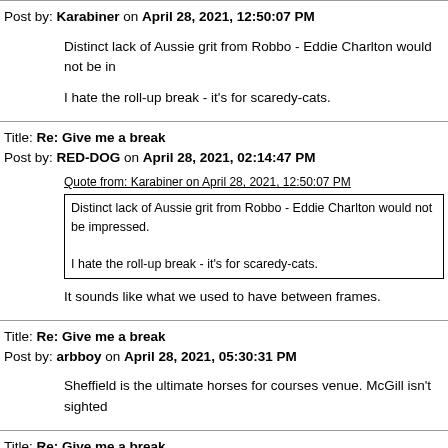Post by: Karabiner on April 28, 2021, 12:50:07 PM
Distinct lack of Aussie grit from Robbo - Eddie Charlton would not be in...
I hate the roll-up break - it's for scaredy-cats.
Title: Re: Give me a break
Post by: RED-DOG on April 28, 2021, 02:14:47 PM
Quote from: Karabiner on April 28, 2021, 12:50:07 PM
Distinct lack of Aussie grit from Robbo - Eddie Charlton would not be impressed.
I hate the roll-up break - it's for scaredy-cats.
It sounds like what we used to have between frames.
Title: Re: Give me a break
Post by: arbboy on April 28, 2021, 05:30:31 PM
Sheffield is the ultimate horses for courses venue.  McGill isn't sighted
Title: Re: Give me a break
Post by: RED-DOG on April 28, 2021, 05:40:43 PM
Been a cracking match between McGill & Bingham, whoever wins it.
Title: Re: Give me a break